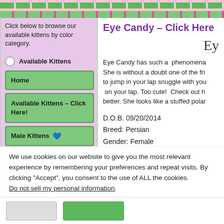Click below to browse our available kittens by color category.
Available Kittens
Home
Available Kittens – Click Here!
Male Kittens 💙
Eye Candy – Click Here
Ey
Eye Candy has such a  phenomena She is without a doubt one of the fri to jump in your lap snuggle with you  on your lap. Too cute!  Check out h better. She looks like a stuffed polar
D.O.B. 09/20/2014
Breed: Persian
Gender: Female
Color: Silver Chinchilla
We use cookies on our website to give you the most relevant experience by remembering your preferences and repeat visits. By clicking "Accept", you consent to the use of ALL the cookies.
Do not sell my personal information.